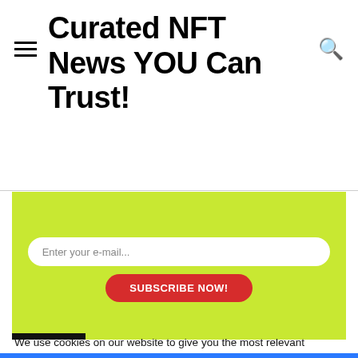Curated NFT News YOU Can Trust!
[Figure (screenshot): Email newsletter subscribe form on green/yellow-green background with white rounded input field and red SUBSCRIBE NOW! button]
We use cookies on our website to give you the most relevant experience by remembering your preferences and repeat visits. By clicking “Accept All”, you consent to the use of ALL the cookies. However, you may visit "Cookie Settings" to provide a controlled consent.